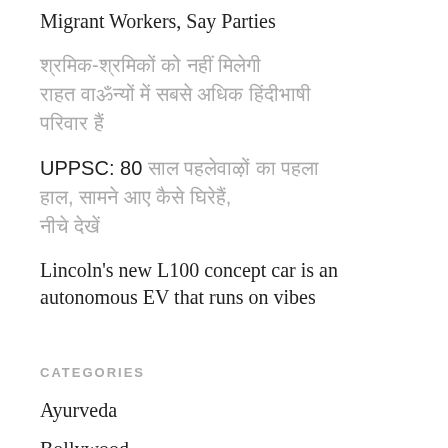Migrant Workers, Say Parties
[Hindi text block 1]
UPPSC: 80 [Hindi text block 2]
Lincoln's new L100 concept car is an autonomous EV that runs on vibes
CATEGORIES
Ayurveda
Bollywood
Bollywood In Pics
Books